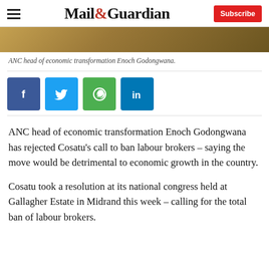Mail&Guardian — Subscribe
[Figure (photo): Partial photo of ANC head of economic transformation Enoch Godongwana, cropped at top]
ANC head of economic transformation Enoch Godongwana.
[Figure (infographic): Social share buttons: Facebook (f), Twitter (bird), WhatsApp (phone), LinkedIn (in)]
ANC head of economic transformation Enoch Godongwana has rejected Cosatu’s call to ban labour brokers – saying the move would be detrimental to economic growth in the country.
Cosatu took a resolution at its national congress held at Gallagher Estate in Midrand this week – calling for the total ban of labour brokers.